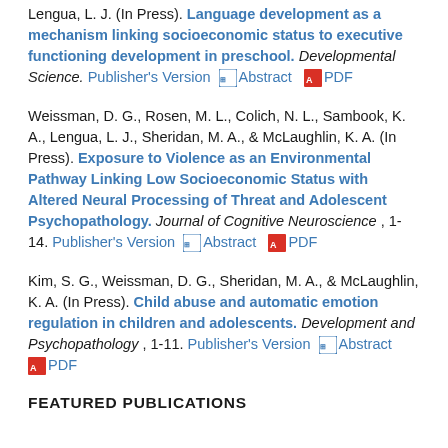Lengua, L. J. (In Press). Language development as a mechanism linking socioeconomic status to executive functioning development in preschool. Developmental Science. Publisher's Version ⊞Abstract 🔲 PDF
Weissman, D. G., Rosen, M. L., Colich, N. L., Sambook, K. A., Lengua, L. J., Sheridan, M. A., & McLaughlin, K. A. (In Press). Exposure to Violence as an Environmental Pathway Linking Low Socioeconomic Status with Altered Neural Processing of Threat and Adolescent Psychopathology. Journal of Cognitive Neuroscience , 1-14. Publisher's Version ⊞Abstract 🔲 PDF
Kim, S. G., Weissman, D. G., Sheridan, M. A., & McLaughlin, K. A. (In Press). Child abuse and automatic emotion regulation in children and adolescents. Development and Psychopathology , 1-11. Publisher's Version ⊞Abstract 🔲 PDF
FEATURED PUBLICATIONS